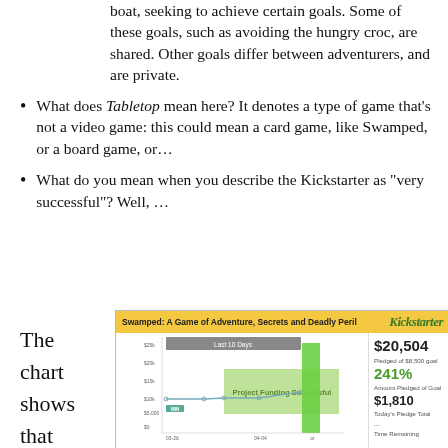boat, seeking to achieve certain goals. Some of these goals, such as avoiding the hungry croc, are shared. Other goals differ between adventurers, and are private.
What does Tabletop mean here? It denotes a type of game that’s not a video game: this could mean a card game, like Swamped, or a board game, or…
What do you mean when you describe the Kickstarter as “very successful”? Well, …
The chart shows that
[Figure (screenshot): Kickstarter campaign chart for 'Swamped: A Game of Adventure, Secrets and Deadly Peril' showing a line/bar chart with 'Last 10 Days' highlighted, green bar at end, stats showing $20,504 pledged of $8,500 goal, 241% of goal pledged, $1,810 today's pledge total, and 'Project Funding Successful' overlay.]